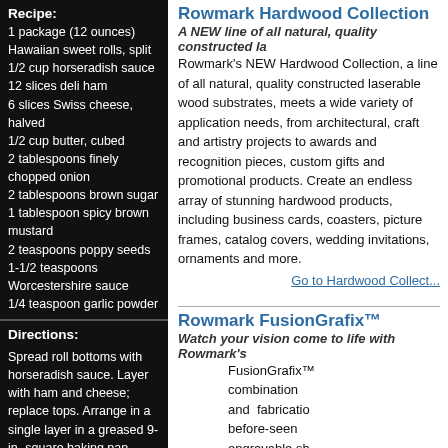Recipe:
1 package (12 ounces) Hawaiian sweet rolls, split
1/2 cup horseradish sauce
12 slices deli ham
6 slices Swiss cheese, halved
1/2 cup butter, cubed
2 tablespoons finely chopped onion
2 tablespoons brown sugar
1 tablespoon spicy brown mustard
2 teaspoons poppy seeds
1-1/2 teaspoons Worcestershire sauce
1/4 teaspoon garlic powder
Directions:
Spread roll bottoms with horseradish sauce. Layer with ham and cheese; replace tops. Arrange in a single layer in a greased 9-in.-square baking pan.

In a small skillet, heat butter over medium-high heat. Add onion; cook and stir 1-2 minutes or until tender. Stir in remaining ingredients.
Rowmark Hardwood Collection
A NEW line of all natural, quality constructed la
Rowmark’s NEW Hardwood Collection, a line of all natural, quality constructed laserable wood substrates, meets a wide variety of application needs, from architectural, craft and artistry projects to awards and recognition pieces, custom gifts and promotional products. Create an endless array of stunning hardwood products, including business cards, coasters, picture frames, catalog covers, wedding invitations, ornaments and more.
Go to Hardwood Collect...
Rowmark FusionGrafix™
Watch your vision come to life with Rowmark’s
FusionGrafix™ combination and fabricatio before-seen engravable sh